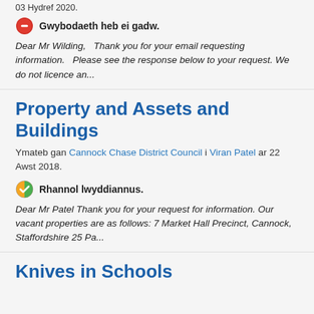03 Hydref 2020.
Gwybodaeth heb ei gadw.
Dear Mr Wilding,   Thank you for your email requesting information.   Please see the response below to your request. We do not licence an...
Property and Assets and Buildings
Ymateb gan Cannock Chase District Council i Viran Patel ar 22 Awst 2018.
Rhannol lwyddiannus.
Dear Mr Patel Thank you for your request for information. Our vacant properties are as follows: 7 Market Hall Precinct, Cannock, Staffordshire 25 Pa...
Knives in Schools